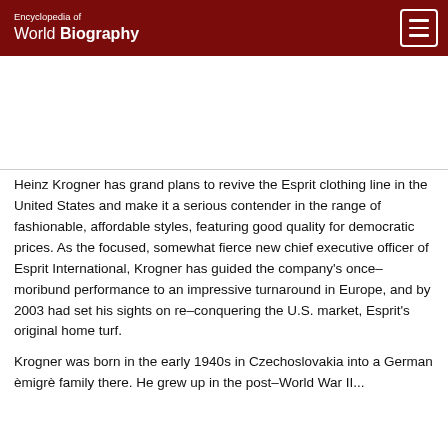Encyclopedia of World Biography
[Figure (other): Advertisement area (blank white space)]
Heinz Krogner has grand plans to revive the Esprit clothing line in the United States and make it a serious contender in the range of fashionable, affordable styles, featuring good quality for democratic prices. As the focused, somewhat fierce new chief executive officer of Esprit International, Krogner has guided the company's once–moribund performance to an impressive turnaround in Europe, and by 2003 had set his sights on re–conquering the U.S. market, Esprit's original home turf.
Krogner was born in the early 1940s in Czechoslovakia into a German èmigrè family there. He grew up in the post–World War II...